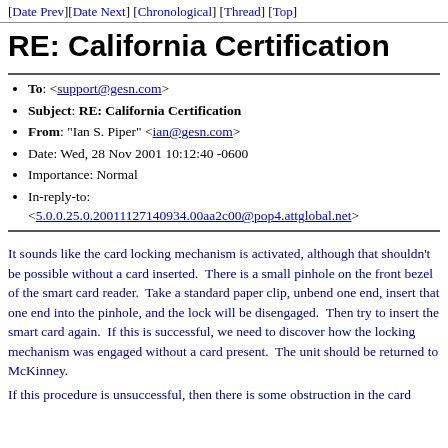[Date Prev][Date Next] [Chronological] [Thread] [Top]
RE: California Certification
To: <support@gesn.com>
Subject: RE: California Certification
From: "Ian S. Piper" <ian@gesn.com>
Date: Wed, 28 Nov 2001 10:12:40 -0600
Importance: Normal
In-reply-to: <5.0.0.25.0.20011127140934.00aa2c00@pop4.attglobal.net>
It sounds like the card locking mechanism is activated, although that shouldn't be possible without a card inserted.  There is a small pinhole on the front bezel of the smart card reader.  Take a standard paper clip, unbend one end, insert that one end into the pinhole, and the lock will be disengaged.  Then try to insert the smart card again.  If this is successful, we need to discover how the locking mechanism was engaged without a card present.  The unit should be returned to McKinney.
If this procedure is unsuccessful, then there is some obstruction in the card